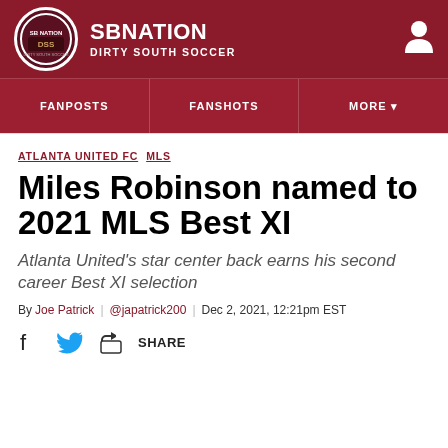SB Nation | DIRTY SOUTH SOCCER
FANPOSTS | FANSHOTS | MORE
ATLANTA UNITED FC  MLS
Miles Robinson named to 2021 MLS Best XI
Atlanta United's star center back earns his second career Best XI selection
By Joe Patrick | @japatrick200 | Dec 2, 2021, 12:21pm EST
SHARE